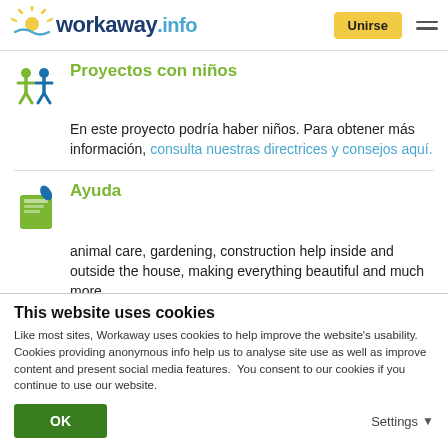workaway.info | Unirse
Proyectos con niños
En este proyecto podría haber niños. Para obtener más información, consulta nuestras directrices y consejos aquí.
Ayuda
animal care, gardening, construction help inside and outside the house, making everything beautiful and much more
This website uses cookies
Like most sites, Workaway uses cookies to help improve the website's usability. Cookies providing anonymous info help us to analyse site use as well as improve content and present social media features.  You consent to our cookies if you continue to use our website.
OK | Settings